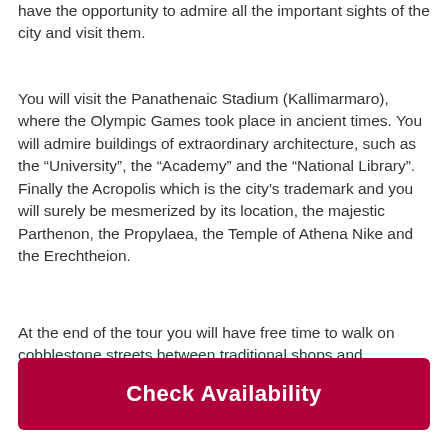have the opportunity to admire all the important sights of the city and visit them.
You will visit the Panathenaic Stadium (Kallimarmaro), where the Olympic Games took place in ancient times. You will admire buildings of extraordinary architecture, such as the “University”, the “Academy” and the “National Library”. Finally the Acropolis which is the city’s trademark and you will surely be mesmerized by its location, the majestic Parthenon, the Propylaea, the Temple of Athena Nike and the Erechtheion.
At the end of the tour you will have free time to walk on cobblestone streets between traditional shops and neoclassic houses, at the foothills of Acropolis, in
Check Availability